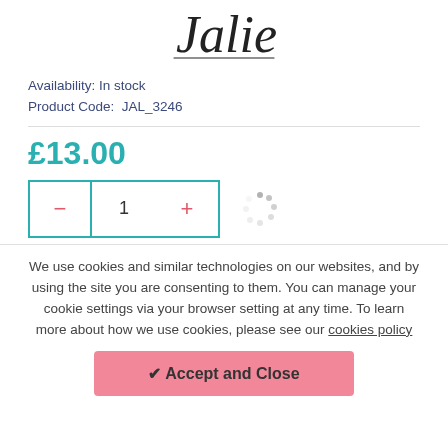[Figure (logo): Jalie script/handwritten logo]
Availability: In stock
Product Code:  JAL_3246
£13.00
[Figure (other): Quantity selector with minus button, quantity value 1, plus button, and a loading spinner]
We use cookies and similar technologies on our websites, and by using the site you are consenting to them. You can manage your cookie settings via your browser setting at any time. To learn more about how we use cookies, please see our cookies policy
✔ Accept and Close